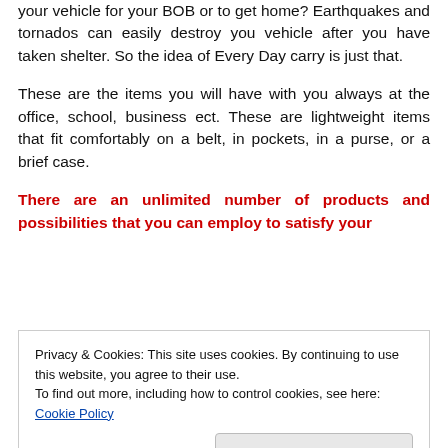your vehicle for your BOB or to get home? Earthquakes and tornados can easily destroy you vehicle after you have taken shelter. So the idea of Every Day carry is just that.
These are the items you will have with you always at the office, school, business ect. These are lightweight items that fit comfortably on a belt, in pockets, in a purse, or a brief case.
There are an unlimited number of products and possibilities that you can employ to satisfy your
Privacy & Cookies: This site uses cookies. By continuing to use this website, you agree to their use.
To find out more, including how to control cookies, see here: Cookie Policy
collar or no collar, there are certain general areas you